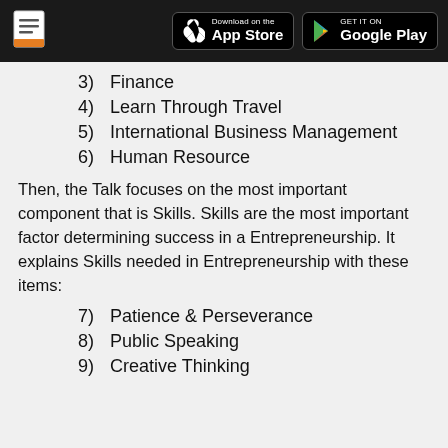App Store / Google Play header
3)  Finance
4)  Learn Through Travel
5)  International Business Management
6)  Human Resource
Then, the Talk focuses on the most important component that is Skills. Skills are the most important factor determining success in a Entrepreneurship. It explains Skills needed in Entrepreneurship with these items:
7)  Patience & Perseverance
8)  Public Speaking
9)  Creative Thinking